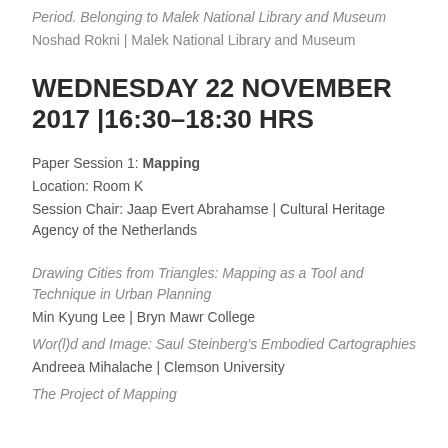Period. Belonging to Malek National Library and Museum
Noshad Rokni | Malek National Library and Museum
WEDNESDAY 22 NOVEMBER 2017 |16:30–18:30 HRS
Paper Session 1: Mapping
Location: Room K
Session Chair: Jaap Evert Abrahamse | Cultural Heritage Agency of the Netherlands
Drawing Cities from Triangles: Mapping as a Tool and Technique in Urban Planning
Min Kyung Lee | Bryn Mawr College
Wor(l)d and Image: Saul Steinberg's Embodied Cartographies
Andreea Mihalache | Clemson University
The Project of Mapping